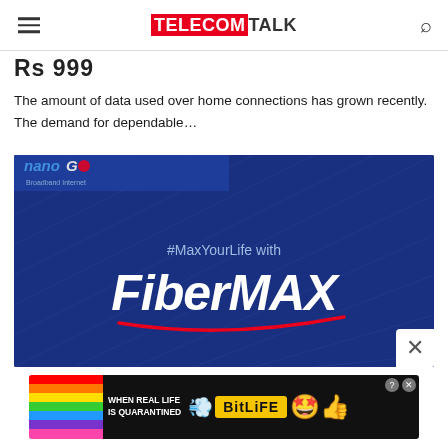TELECOMTALK
Rs 999
The amount of data used over home connections has grown recently. The demand for dependable…
[Figure (photo): FiberMAX broadband internet advertisement banner with '#MaxYourLife with FiberMAX' text on dark blue background, with a close/X button in lower right corner]
[Figure (photo): BitLife mobile game advertisement banner with rainbow background on left, sperm emoji, BitLife logo on yellow background, star emoji on right, 'WHEN REAL LIFE IS QUARANTINED' text]